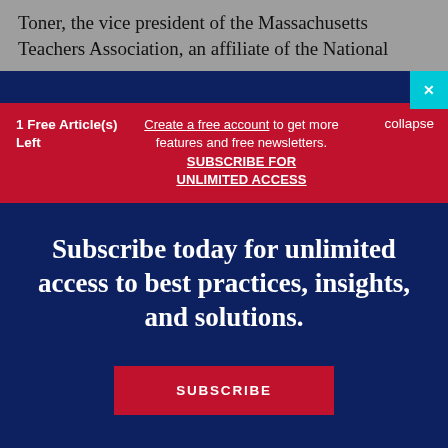Toner, the vice president of the Massachusetts Teachers Association, an affiliate of the National
1 Free Article(s) Left
Create a free account to get more features and free newsletters. SUBSCRIBE FOR UNLIMITED ACCESS
collapse
Subscribe today for unlimited access to best practices, insights, and solutions.
SUBSCRIBE